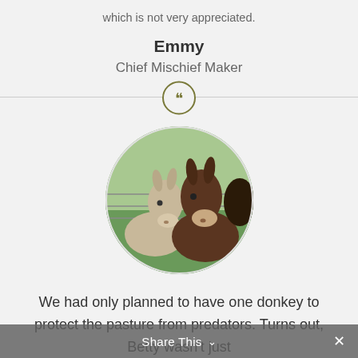which is not very appreciated.
Emmy
Chief Mischief Maker
[Figure (illustration): Quotation mark icon in an olive/dark-yellow circle outline]
[Figure (photo): Circular photo of two donkeys (one lighter colored, one dark brown) standing side by side behind a wire fence in a green pasture]
We had only planned to have one donkey to protect the pasture from predators. Turns out, Betty wasn't just
Share This ∨  ×